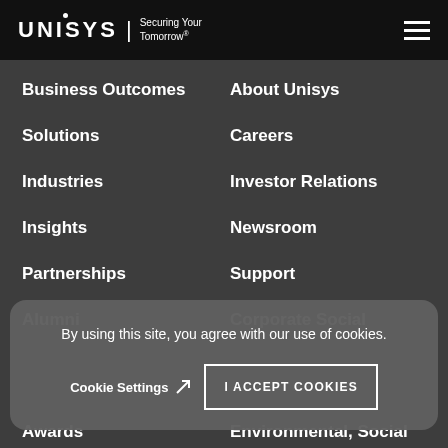[Figure (logo): Unisys logo with tagline 'Securing Your Tomorrow']
Business Outcomes
About Unisys
Solutions
Careers
Industries
Investor Relations
Insights
Newsroom
Partnerships
Support
Alumni
Corporate Social
By using this site, you agree with our use of cookies.
Cookie Settings
I ACCEPT COOKIES
Awards
Environmental, Social